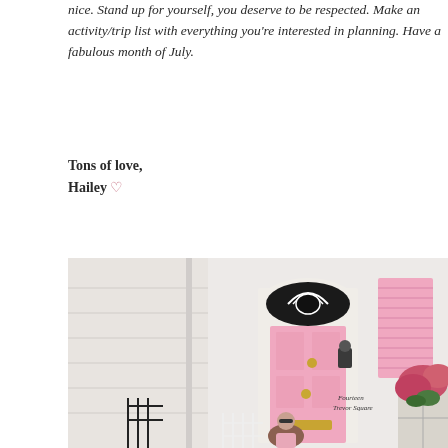nice. Stand up for yourself, you deserve to be respected. Make an activity/trip list with everything you're interested in doing and start planning. Have a fabulous month of July.
Tons of love,
Hailey ♡
[Figure (photo): A woman sitting in front of a white building with a pink front door and pink shutters. A sign reads 'Fourteen Trevor Square'. Pink flowers are visible on the right side.]